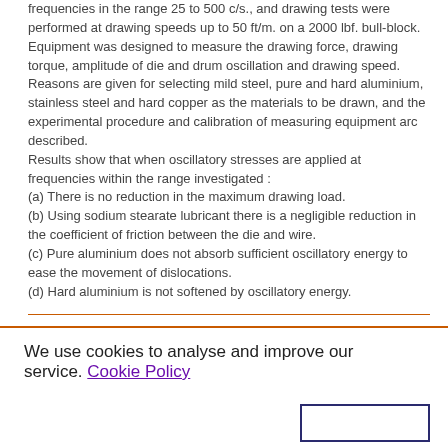frequencies in the range 25 to 500 c/s., and drawing tests were performed at drawing speeds up to 50 ft/m. on a 2000 lbf. bull-block. Equipment was designed to measure the drawing force, drawing torque, amplitude of die and drum oscillation and drawing speed. Reasons are given for selecting mild steel, pure and hard aluminium, stainless steel and hard copper as the materials to be drawn, and the experimental procedure and calibration of measuring equipment arc described.
Results show that when oscillatory stresses are applied at frequencies within the range investigated :
(a) There is no reduction in the maximum drawing load.
(b) Using sodium stearate lubricant there is a negligible reduction in the coefficient of friction between the die and wire.
(c) Pure aluminium does not absorb sufficient oscillatory energy to ease the movement of dislocations.
(d) Hard aluminium is not softened by oscillatory energy.
We use cookies to analyse and improve our service. Cookie Policy